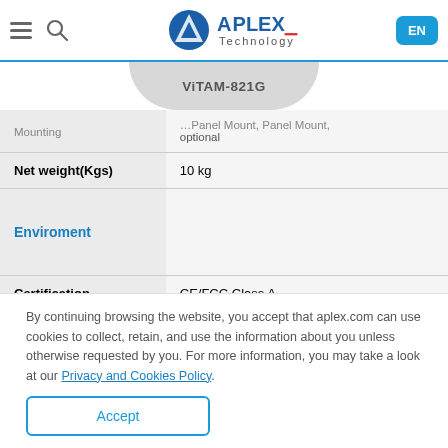Aplex Technology — ViTAM-821G product page header with navigation icons and EN language button
[Figure (other): Product tab/label showing 'ViTAM-821G' product name on a grey rounded tab shape]
| Property | Value |
| --- | --- |
| Mounting | ... (truncated), Panel Mount, optional |
| Net weight(Kgs) | 10 kg |
| Enviroment |  |
| Certification | CE/FCC Class A |
By continuing browsing the website, you accept that aplex.com can use cookies to collect, retain, and use the information about you unless otherwise requested by you. For more information, you may take a look at our Privacy and Cookies Policy.
Accept